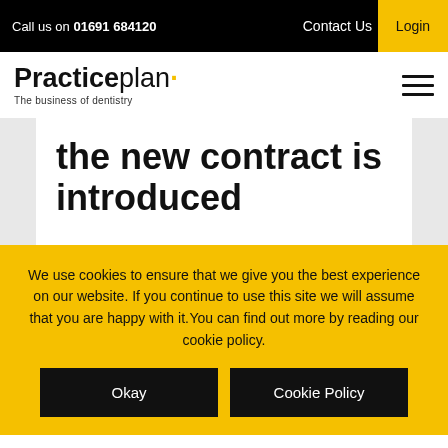Call us on 01691 684120   Contact Us   Login
[Figure (logo): Practiceplan logo with tagline 'The business of dentistry']
the new contract is introduced
We use cookies to ensure that we give you the best experience on our website. If you continue to use this site we will assume that you are happy with it. You can find out more by reading our cookie policy.
Okay
Cookie Policy